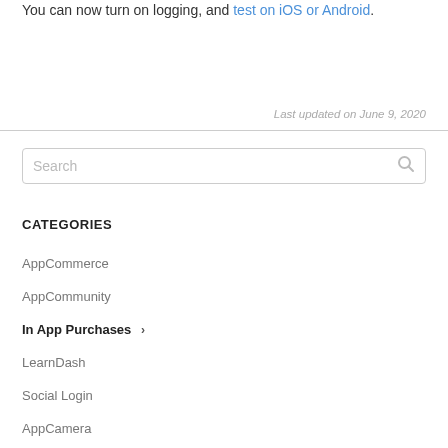You can now turn on logging, and test on iOS or Android.
Last updated on June 9, 2020
AppCommerce
AppCommunity
In App Purchases
LearnDash
Social Login
AppCamera